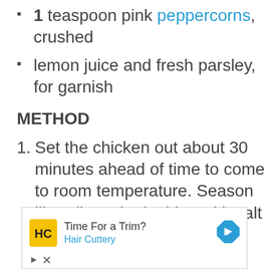1 teaspoon pink peppercorns, crushed
lemon juice and fresh parsley, for garnish
METHOD
1. Set the chicken out about 30 minutes ahead of time to come to room temperature. Season liberally on both sides with salt
[Figure (other): Advertisement banner for Hair Cuttery with logo, text 'Time For a Trim? Hair Cuttery', blue navigation arrow icon, and ad controls (play and close buttons).]